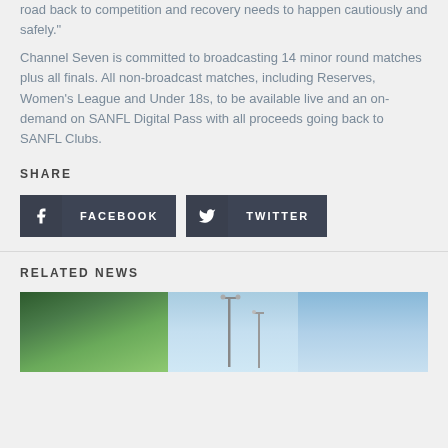road back to competition and recovery needs to happen cautiously and safely."
Channel Seven is committed to broadcasting 14 minor round matches plus all finals. All non-broadcast matches, including Reserves, Women's League and Under 18s, to be available live and an on-demand on SANFL Digital Pass with all proceeds going back to SANFL Clubs.
SHARE
FACEBOOK
TWITTER
RELATED NEWS
[Figure (photo): Outdoor sports ground photo with trees on left, light poles in center and right, against blue sky]